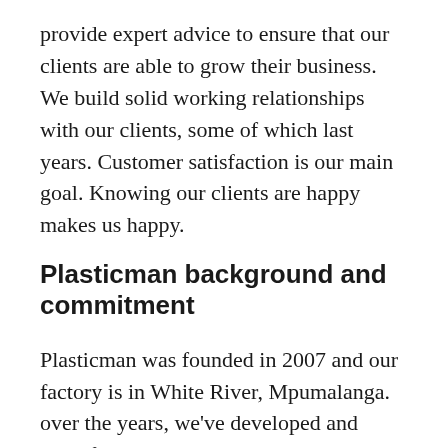provide expert advice to ensure that our clients are able to grow their business. We build solid working relationships with our clients, some of which last years. Customer satisfaction is our main goal. Knowing our clients are happy makes us happy.
Plasticman background and commitment
Plasticman was founded in 2007 and our factory is in White River, Mpumalanga. over the years, we've developed and manufactured high quality plastic products that are recognised by the community we serve. We are more than happy to discuss our client's